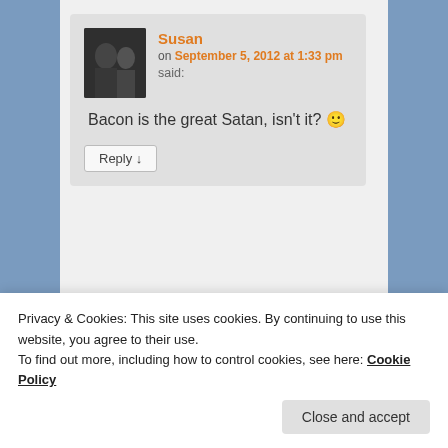Susan
on September 5, 2012 at 1:33 pm said:
Bacon is the great Satan, isn't it? 🙂
Reply ↓
[Figure (photo): User avatar photo of Susan, two people in a dark photo]
[Figure (photo): User avatar photo, person with glasses and dark hair on brown background]
Privacy & Cookies: This site uses cookies. By continuing to use this website, you agree to their use.
To find out more, including how to control cookies, see here: Cookie Policy
Close and accept